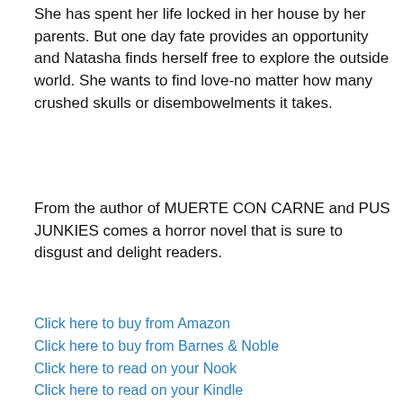She has spent her life locked in her house by her parents. But one day fate provides an opportunity and Natasha finds herself free to explore the outside world. She wants to find love-no matter how many crushed skulls or disembowelments it takes.
From the author of MUERTE CON CARNE and PUS JUNKIES comes a horror novel that is sure to disgust and delight readers.
Click here to buy from Amazon
Click here to buy from Barnes & Noble
Click here to read on your Nook
Click here to read on your Kindle
[Figure (illustration): Book cover with dark blue background showing the title ANSWERS OF SILENCE in large white serif text]